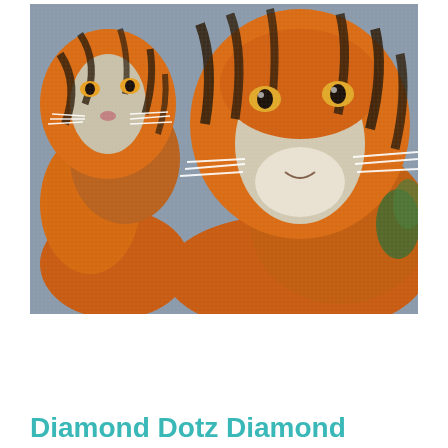[Figure (illustration): A diamond dotz / diamond painting craft image showing two tigers — a larger adult tiger facing forward on the right and a smaller tiger cub on the left. The image has a pixelated/mosaic appearance characteristic of diamond painting kits. The tigers have vivid orange and black striped fur with white accents. Background is grey.]
Diamond Dotz Diamond